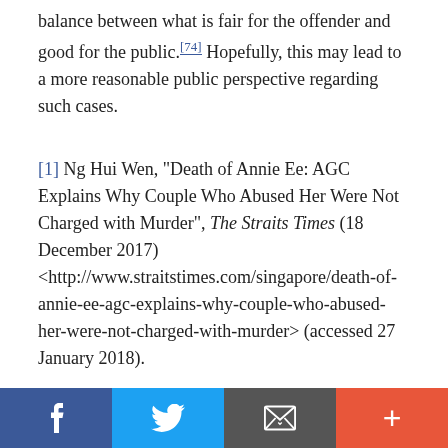balance between what is fair for the offender and good for the public.[74] Hopefully, this may lead to a more reasonable public perspective regarding such cases.
[1] Ng Hui Wen, "Death of Annie Ee: AGC Explains Why Couple Who Abused Her Were Not Charged with Murder", The Straits Times (18 December 2017) <http://www.straitstimes.com/singapore/death-of-annie-ee-agc-explains-why-couple-who-abused-her-were-not-charged-with-murder> (accessed 27 January 2018).
[2] Ibid.
[3] Opening of the Legal Year 2018: Speech by Attorney-General, Mr Lucien Wong, S.C.